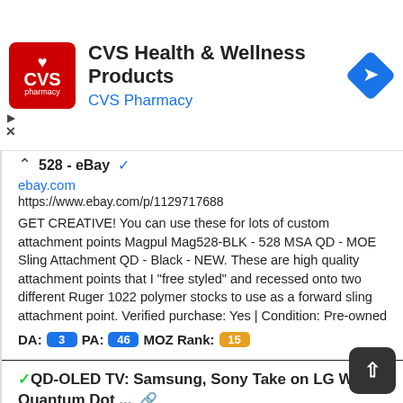[Figure (screenshot): CVS Health & Wellness Products advertisement banner with CVS Pharmacy logo (red square with heart and CVS text), title text, and blue navigation/direction icon]
528 - eBay
ebay.com
https://www.ebay.com/p/1129717688
GET CREATIVE! You can use these for lots of custom attachment points Magpul Mag528-BLK - 528 MSA QD - MOE Sling Attachment QD - Black - NEW. These are high quality attachment points that I "free styled" and recessed onto two different Ruger 1022 polymer stocks to use as a forward sling attachment point. Verified purchase: Yes | Condition: Pre-owned
DA: 3  PA: 46  MOZ Rank: 15
QD-OLED TV: Samsung, Sony Take on LG With Quantum Dot ...
cnet.com
https://www.cnet.com/tech/home-entertainment/qd-oled-samsung-sony-take-on-lg-with-quantum-dot-special-sauce/